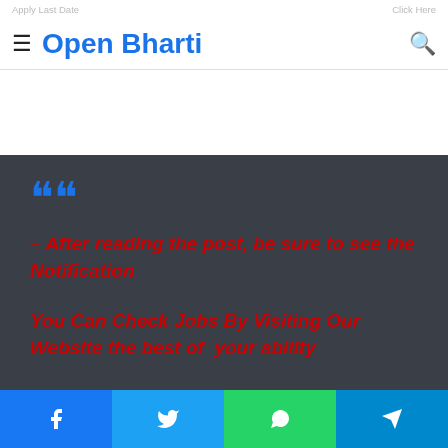Apply Last Date    Click Here
Open Bharti
[Figure (screenshot): Dark gray blockquote section with blue quotation marks and red italic bold text: '– After reading the post, be sure to see the Notification' and 'You Can Check Jobs By Visiting Our Website the best of your ability']
| Apply Online | Click Here |
Facebook  Twitter  WhatsApp  Telegram social share buttons